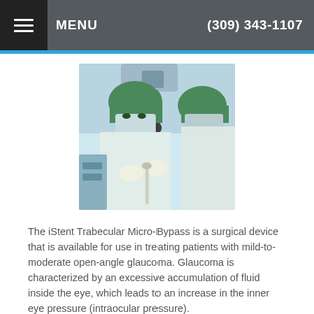MENU  (309) 343-1107
[Figure (photo): Medical professional in surgical scrubs and green cap using a microscope or surgical instrument, likely in an operating room setting.]
The iStent Trabecular Micro-Bypass is a surgical device that is available for use in treating patients with mild-to-moderate open-angle glaucoma. Glaucoma is characterized by an excessive accumulation of fluid inside the eye, which leads to an increase in the inner eye pressure (intraocular pressure).
Read more